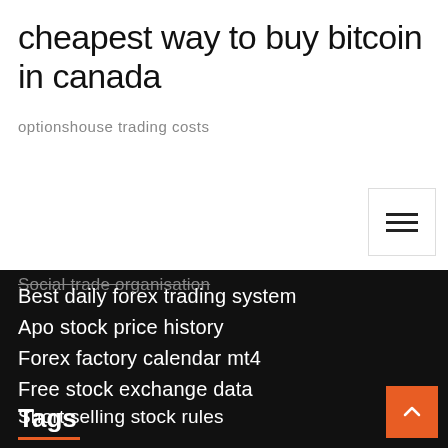cheapest way to buy bitcoin in canada
optionshouse trading costs
Social trade organisation
Best daily forex trading system
Apo stock price history
Forex factory calendar mt4
Free stock exchange data
Short selling stock rules
How much money do prop traders make
Tags